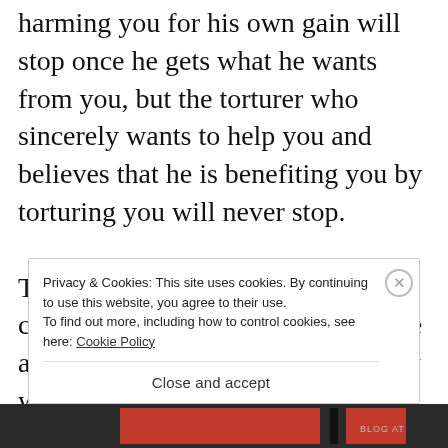harming you for his own gain will stop once he gets what he wants from you, but the torturer who sincerely wants to help you and believes that he is benefiting you by torturing you will never stop.

The more politicians believe they can provide for you via the coercive apparatus of the State the more they will have to take from you in taxes and stealth taxes like inflation.
Privacy & Cookies: This site uses cookies. By continuing to use this website, you agree to their use.
To find out more, including how to control cookies, see here: Cookie Policy

Close and accept